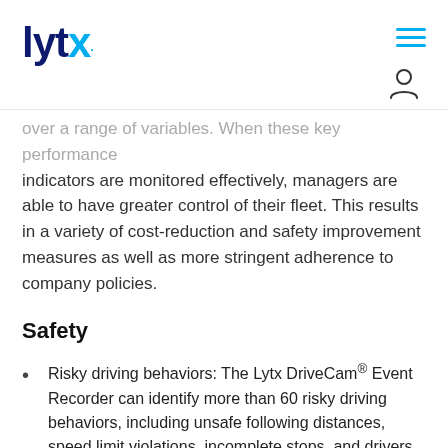lytx. [navigation header]
over a range of variables. When these key performance indicators are monitored effectively, managers are able to have greater control of their fleet. This results in a variety of cost-reduction and safety improvement measures as well as more stringent adherence to company policies.
Safety
Risky driving behaviors: The Lytx DriveCam® Event Recorder can identify more than 60 risky driving behaviors, including unsafe following distances, speed limit violations, incomplete stops, and drivers not wearing seat belts. Fleet managers can quickly understand what is happening in the field through management dashboard KPI monitors that detect several driver distractions such as eating, drinking, smoking, texting, and shifting focus from the road. Monitoring the cabin area from a camera at is...